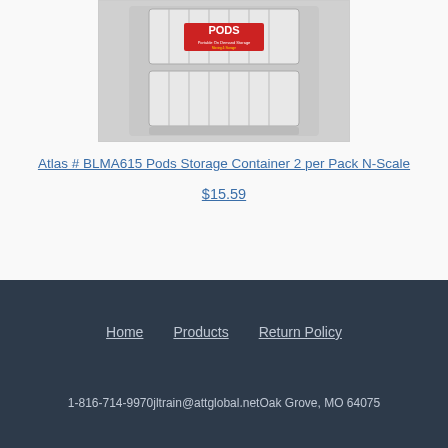[Figure (photo): Model train scale miniature PODS storage containers in plastic packaging, two white rectangular containers with PODS branding label visible]
Atlas # BLMA615 Pods Storage Container 2 per Pack N-Scale
$15.59
Home   Products   Return Policy
1-816-714-9970jltrain@attglobal.netOak Grove, MO 64075